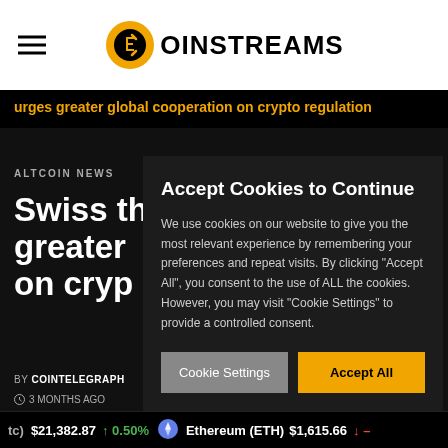[Figure (logo): Coinstreams logo with yellow coin icon and black text COINSTREAMS]
urges greater global cooperation on crypto regulation
ALTCOIN NEWS
Swiss th greater on cryp
BY COINTELEGRAPH
3 MONTHS AGO
Accept Cookies to Continue
We use cookies on our website to give you the most relevant experience by remembering your preferences and repeat visits. By clicking "Accept All", you consent to the use of ALL the cookies. However, you may visit "Cookie Settings" to provide a controlled consent.
Cookie Settings   Accept All
(tc) $21,382.87 ↑ 0.50%   Ethereum (ETH) $1,615.66 ↓ –